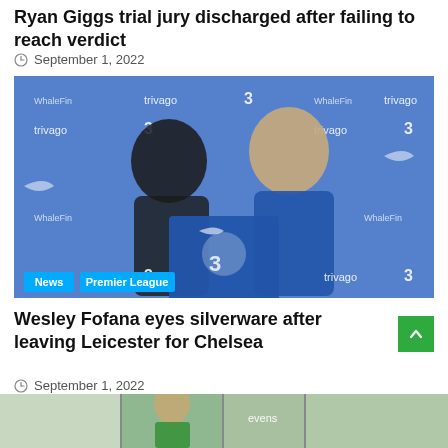Ryan Giggs trial jury discharged after failing to reach verdict
September 1, 2022
[Figure (photo): Two men posing with a Chelsea FC jersey in front of a sponsor backdrop featuring trivago, Three, WhaleFin and Nike logos. One man wears a black outfit and the other wears a blue Chelsea kit. Tags: News, Premier League.]
Wesley Fofana eyes silverware after leaving Leicester for Chelsea
September 1, 2022
[Figure (photo): Partial bottom strip image showing a football-related scene, partially cropped.]